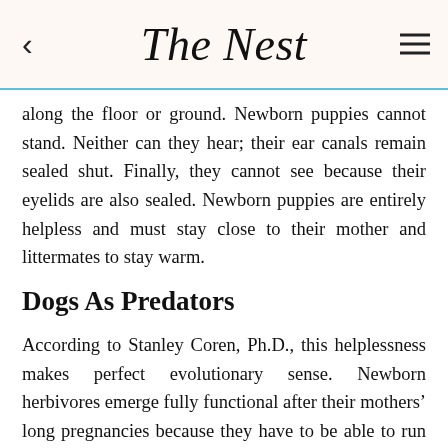The Nest
along the floor or ground. Newborn puppies cannot stand. Neither can they hear; their ear canals remain sealed shut. Finally, they cannot see because their eyelids are also sealed. Newborn puppies are entirely helpless and must stay close to their mother and littermates to stay warm.
Dogs As Predators
According to Stanley Coren, Ph.D., this helplessness makes perfect evolutionary sense. Newborn herbivores emerge fully functional after their mothers' long pregnancies because they have to be able to run with the herd, in part to escape predators. However, long pregnancies would interfere with predators' ability to hunt and to